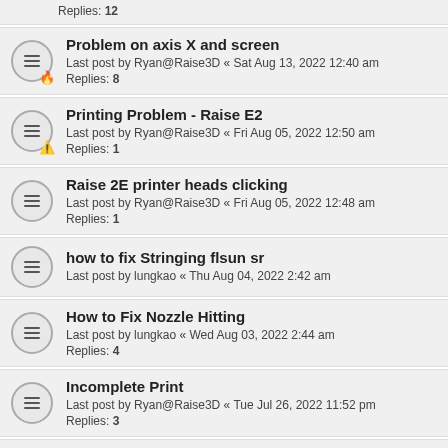Replies: 12
Problem on axis X and screen
Last post by Ryan@Raise3D « Sat Aug 13, 2022 12:40 am
Replies: 8
Printing Problem - Raise E2
Last post by Ryan@Raise3D « Fri Aug 05, 2022 12:50 am
Replies: 1
Raise 2E printer heads clicking
Last post by Ryan@Raise3D « Fri Aug 05, 2022 12:48 am
Replies: 1
how to fix Stringing flsun sr
Last post by lungkao « Thu Aug 04, 2022 2:42 am
How to Fix Nozzle Hitting
Last post by lungkao « Wed Aug 03, 2022 2:44 am
Replies: 4
Incomplete Print
Last post by Ryan@Raise3D « Tue Jul 26, 2022 11:52 pm
Replies: 3
Pro 3 for sale